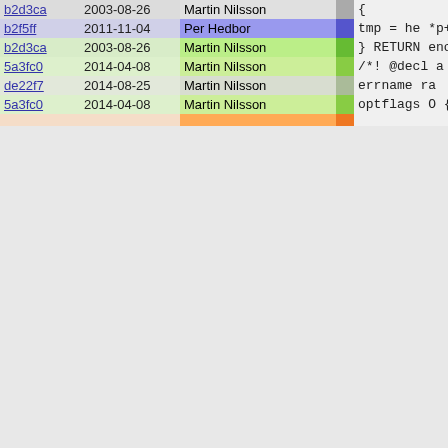| hash | date | author |  | code |
| --- | --- | --- | --- | --- |
| b2d3ca | 2003-08-26 | Martin Nilsson |  | { |
| b2f5ff | 2011-11-04 | Per Hedbor |  | tmp = he
*p++ = ( |
| b2d3ca | 2003-08-26 | Martin Nilsson |  | }
RETURN enc
} |
| 5a3fc0 | 2014-04-08 | Martin Nilsson |  | /*! @decl a
 *! @appears
 *!
 *! Returns
 *! elements
 *! second f
 *! strings
 */
PIKEFUN arr |
| de22f7 | 2014-08-25 | Martin Nilsson |  | errname ra |
| 5a3fc0 | 2014-04-08 | Martin Nilsson |  | optflags O
{
  int min, m
  check_str
  pop_n_ele
  push_int(m
  push_int(m
  f_aggrega
} |